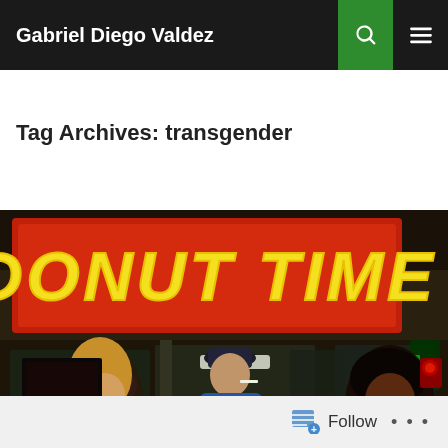Gabriel Diego Valdez
Tag Archives: transgender
[Figure (photo): Still from a film showing three people standing in front of a 'Donut Time' donut shop at night. The sign is illuminated in red/orange with yellow bubble letters reading 'DONUT TIME'. An 'OPEN' neon sign is visible, along with a person in a blue hoodie smoking, a blonde woman to the left, and a dark-skinned woman to the right.]
Follow ...